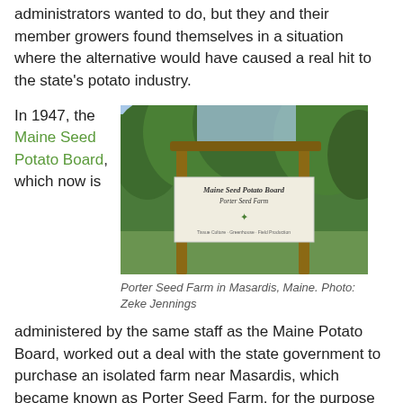administrators wanted to do, but they and their member growers found themselves in a situation where the alternative would have caused a real hit to the state's potato industry.
In 1947, the Maine Seed Potato Board, which now is
[Figure (photo): Photo of a wooden sign reading 'Maine Seed Potato Board / Porter Seed Farm' with trees in the background]
Porter Seed Farm in Masardis, Maine. Photo: Zeke Jennings
administered by the same staff as the Maine Potato Board, worked out a deal with the state government to purchase an isolated farm near Masardis, which became known as Porter Seed Farm, for the purpose of helping to supply growers with early-generation seed potatoes. Under the agreement, the